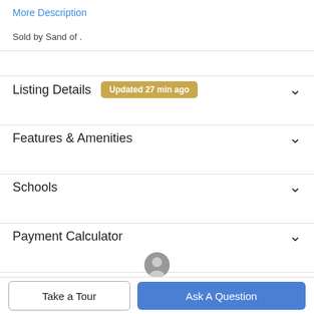More Description
Sold by Sand of .
Listing Details  Updated 27 min ago
Features & Amenities
Schools
Payment Calculator
Contact Agent
Take a Tour
Ask A Question